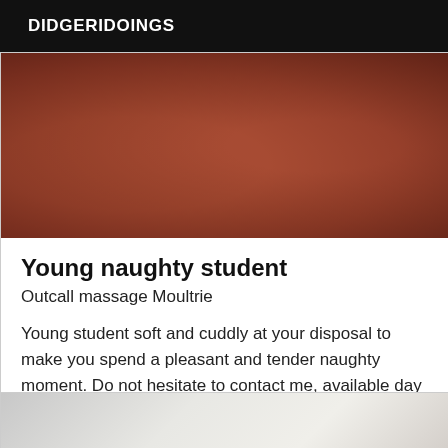DIDGERIDOINGS
[Figure (photo): Close-up photo with warm skin tones and organic textures]
Young naughty student
Outcall massage Moultrie
Young student soft and cuddly at your disposal to make you spend a pleasant and tender naughty moment. Do not hesitate to contact me, available day and evening to meet your requests and expectations. Tender kiss.
[Figure (photo): Light-colored room interior photo, partially visible]